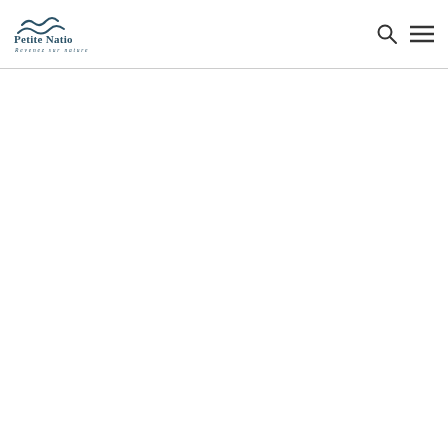Petite Nation — Revenez sur nature
[Figure (logo): Petite Nation logo with stylized wave/bird icon above the text 'Petite Nation' and tagline 'Revenez sur nature']